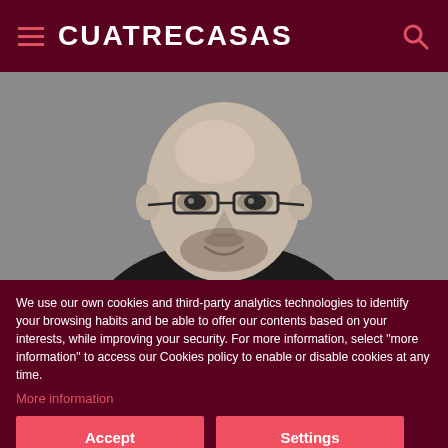CUATRECASAS
[Figure (photo): Black and white portrait of a bald man with glasses and stubble beard, wearing a dark suit, smiling slightly.]
We use our own cookies and third-party analytics technologies to identify your browsing habits and be able to offer our contents based on your interests, while improving your security. For more information, select "more information" to access our Cookies policy to enable or disable cookies at any time.
More information
Accept
Settings